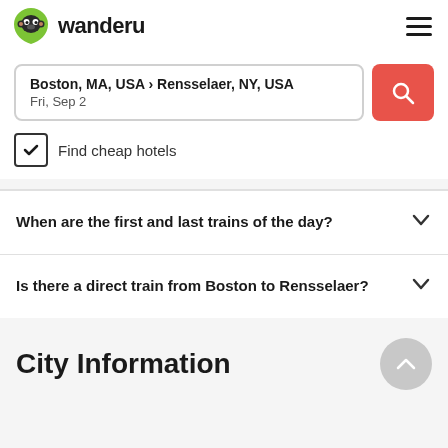[Figure (logo): Wanderu logo with green monkey icon and brand name 'wanderu']
Boston, MA, USA › Rensselaer, NY, USA
Fri, Sep 2
Find cheap hotels
When are the first and last trains of the day?
Is there a direct train from Boston to Rensselaer?
City Information